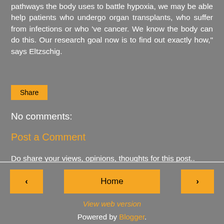pathways the body uses to battle hypoxia, we may be able help patients who undergo organ transplants, who suffer from infections or who 've cancer. We know the body can do this. Our research goal now is to find out exactly how," says Eltzschig.
Share
No comments:
Post a Comment
Do share your views, opinions, thoughts for this post..
‹  Home  ›  View web version  Powered by Blogger.